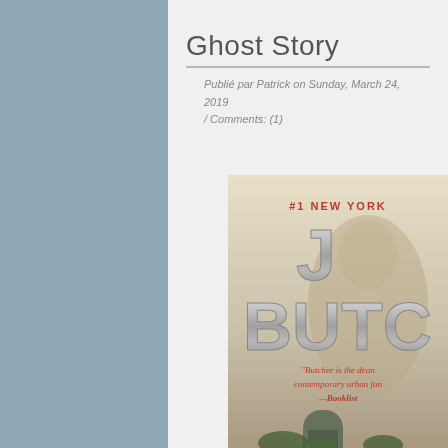Ghost Story
Publié par Patrick on Sunday, March 24, 2019 / Comments: (1)
[Figure (photo): Book cover of Ghost Story by Jim Butcher, showing large silver metallic letters 'J BUTE' (Jim Butcher) partially visible, with '#1 NEW YORK' text in red at top, a quote in red text reading 'Butcher is the dean of contemporary urban fan... —Booklist', and a misty background with a gravestone at the bottom.]